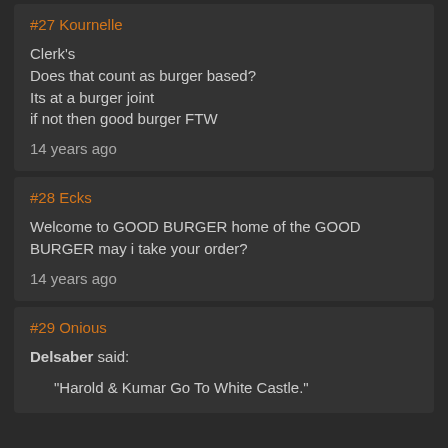#27 Kournelle
Clerk's
Does that count as burger based?
Its at a burger joint
if not then good burger FTW
14 years ago
#28 Ecks
Welcome to GOOD BURGER home of the GOOD BURGER may i take your order?
14 years ago
#29 Onious
Delsaber said:
"Harold & Kumar Go To White Castle."